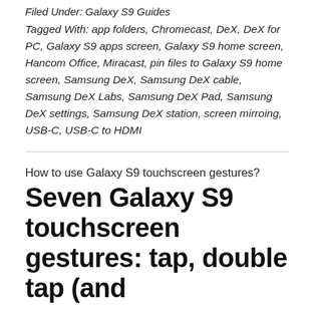Filed Under: Galaxy S9 Guides
Tagged With: app folders, Chromecast, DeX, DeX for PC, Galaxy S9 apps screen, Galaxy S9 home screen, Hancom Office, Miracast, pin files to Galaxy S9 home screen, Samsung DeX, Samsung DeX cable, Samsung DeX Labs, Samsung DeX Pad, Samsung DeX settings, Samsung DeX station, screen mirroing, USB-C, USB-C to HDMI
How to use Galaxy S9 touchscreen gestures?
Seven Galaxy S9 touchscreen gestures: tap, double tap (and